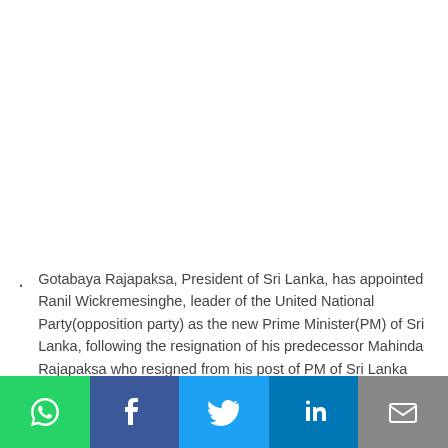Gotabaya Rajapaksa, President of Sri Lanka, has appointed Ranil Wickremesinghe, leader of the United National Party(opposition party) as the new Prime Minister(PM) of Sri Lanka, following the resignation of his predecessor Mahinda Rajapaksa who resigned from his post of PM of Sri Lanka amid mass protest over the economic crisis.
[Figure (infographic): Social sharing bar with icons for WhatsApp, Facebook, Twitter, LinkedIn, and Email]